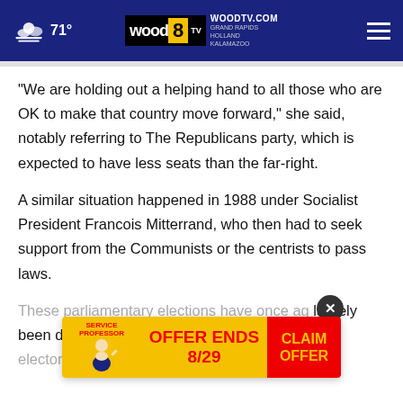71° | WOODTV.COM GRAND RAPIDS HOLLAND KALAMAZOO | wood 8 TV
“We are holding out a helping hand to all those who are OK to make that country move forward,” she said, notably referring to The Republicans party, which is expected to have less seats than the far-right.
A similar situation happened in 1988 under Socialist President Francois Mitterrand, who then had to seek support from the Communists or the centrists to pass laws.
These parliamentary elections have once again largely been dominated by the record number of the electorate staying home.
[Figure (infographic): Advertisement: Service Professor - OFFER ENDS 8/29 - CLAIM OFFER]